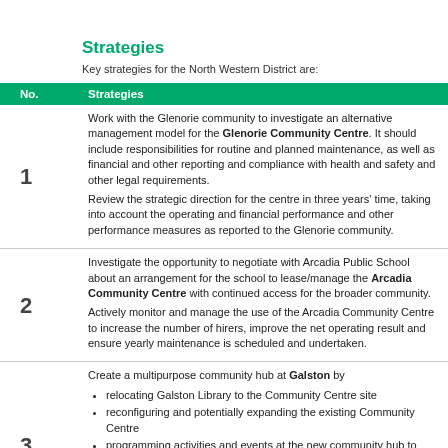Strategies
Key strategies for the North Western District are:
| No. | Strategies |
| --- | --- |
| 1 | Work with the Glenorie community to investigate an alternative management model for the Glenorie Community Centre. It should include responsibilities for routine and planned maintenance, as well as financial and other reporting and compliance with health and safety and other legal requirements.
Review the strategic direction for the centre in three years' time, taking into account the operating and financial performance and other performance measures as reported to the Glenorie community. |
| 2 | Investigate the opportunity to negotiate with Arcadia Public School about an arrangement for the school to lease/manage the Arcadia Community Centre with continued access for the broader community.
Actively monitor and manage the use of the Arcadia Community Centre to increase the number of hirers, improve the net operating result and ensure yearly maintenance is scheduled and undertaken. |
| 3 | Create a multipurpose community hub at Galston by
• relocating Galston Library to the Community Centre site
• reconfiguring and potentially expanding the existing Community Centre
• programming activities and events at the new community hub to increase activation, if required.
Subject to detailed consultation with the local community and regular users, the hub should include library space in the order of 250 sqm and multipurpose community space of 500-600 sqm. |
| 4 | Investigate the consolidation of the Dural and District Historical Centre into the Galston Community Centre site or the heritage precinct within Fagan Park, with appropriate display, storage and access arrangements. |